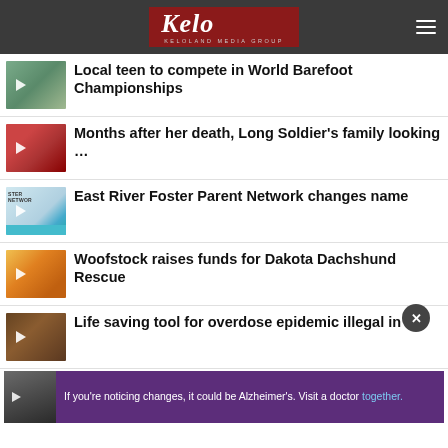KELOLAND MEDIA GROUP
Local teen to compete in World Barefoot Championships
Months after her death, Long Soldier's family looking …
East River Foster Parent Network changes name
Woofstock raises funds for Dakota Dachshund Rescue
Life saving tool for overdose epidemic illegal in …
[Figure (screenshot): Advertisement banner: If you're noticing changes, it could be Alzheimer's. Visit a doctor together.]